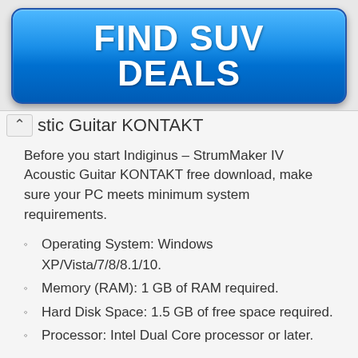[Figure (other): Blue gradient button/banner with bold white text reading FIND SUV DEALS]
…stic Guitar KONTAKT
Before you start Indiginus – StrumMaker IV Acoustic Guitar KONTAKT free download, make sure your PC meets minimum system requirements.
Operating System: Windows XP/Vista/7/8/8.1/10.
Memory (RAM): 1 GB of RAM required.
Hard Disk Space: 1.5 GB of free space required.
Processor: Intel Dual Core processor or later.
Indiginus – StrumMaker IV Acoustic Guitar KONTAKT Free Download